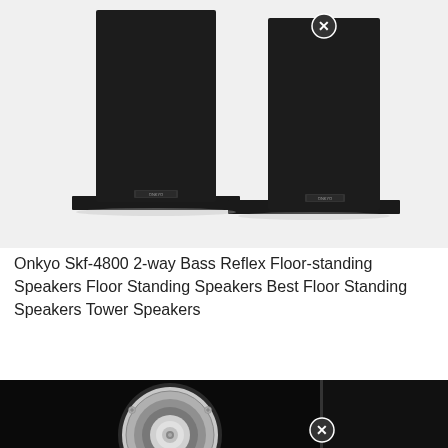[Figure (photo): Two black tower/floor-standing speakers (Onkyo SKF-4800) shown side by side with a small close-button (X) icon visible near the top center and right speaker. Both speakers are standing on black square bases against a white background.]
Onkyo Skf-4800 2-way Bass Reflex Floor-standing Speakers Floor Standing Speakers Best Floor Standing Speakers Tower Speakers
[Figure (photo): Close-up photo of the front of a speaker driver/woofer in a black speaker cabinet, showing a silver/chrome circular woofer with a dome tweeter in the center. A close-button (X) icon is visible at the bottom center of the image.]